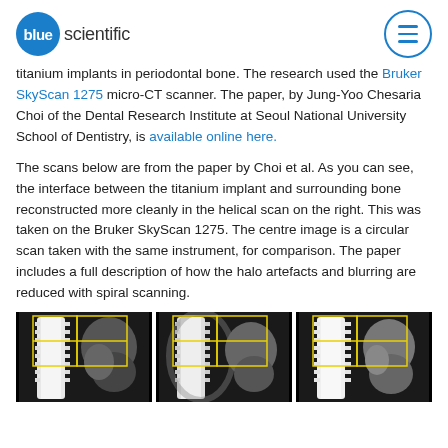blue scientific
titanium implants in periodontal bone. The research used the Bruker SkyScan 1275 micro-CT scanner. The paper, by Jung-Yoo Chesaria Choi of the Dental Research Institute at Seoul National University School of Dentistry, is available online here.
The scans below are from the paper by Choi et al. As you can see, the interface between the titanium implant and surrounding bone reconstructed more cleanly in the helical scan on the right. This was taken on the Bruker SkyScan 1275. The centre image is a circular scan taken with the same instrument, for comparison. The paper includes a full description of how the halo artefacts and blurring are reduced with spiral scanning.
[Figure (photo): Three micro-CT scan images of titanium dental implants in periodontal bone, showing cross-sections with yellow rectangular overlays. The images compare different scanning modes on the Bruker SkyScan 1275.]